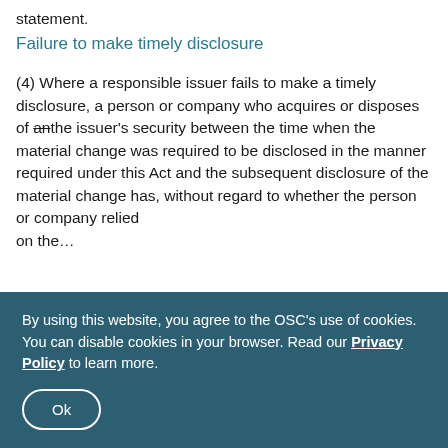statement.
Failure to make timely disclosure
(4) Where a responsible issuer fails to make a timely disclosure, a person or company who acquires or disposes of anthe issuer's security between the time when the material change was required to be disclosed in the manner required under this Act and the subsequent disclosure of the material change has, without regard to whether the person or company relied on the…
By using this website, you agree to the OSC's use of cookies. You can disable cookies in your browser. Read our Privacy Policy to learn more.
Ok